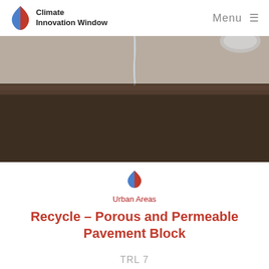Climate Innovation Window  Menu
[Figure (photo): Close-up photograph of porous pavement block material with water stream dripping onto its surface, demonstrating permeability. The block surface is dark brownish-gray granular texture.]
[Figure (logo): Small Climate Innovation Window flame/leaf logo icon in red-blue gradient]
Urban Areas
Recycle – Porous and Permeable Pavement Block
TRL 7